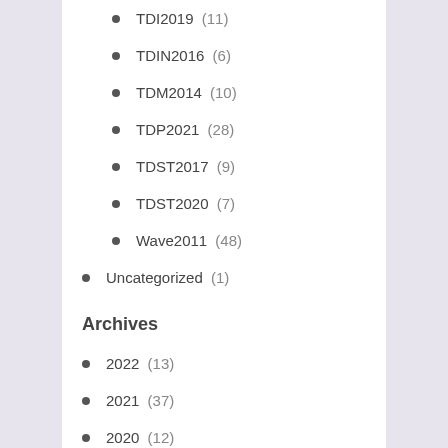TDI2019 (11)
TDIN2016 (6)
TDM2014 (10)
TDP2021 (28)
TDST2017 (9)
TDST2020 (7)
Wave2011 (48)
Uncategorized (1)
Archives
2022 (13)
2021 (37)
2020 (12)